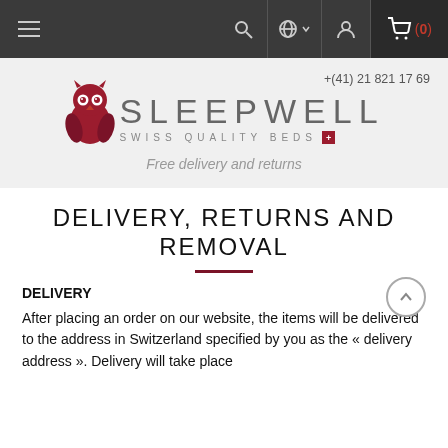Navigation bar with hamburger menu, search, globe, user, and cart icons. Cart shows (0).
[Figure (logo): Sleepwell Swiss Quality Beds logo with owl illustration. Phone number +（41) 21 821 17 69. Tagline: Free delivery and returns.]
DELIVERY, RETURNS AND REMOVAL
DELIVERY
After placing an order on our website, the items will be delivered to the address in Switzerland specified by you as the « delivery address ». Delivery will take place